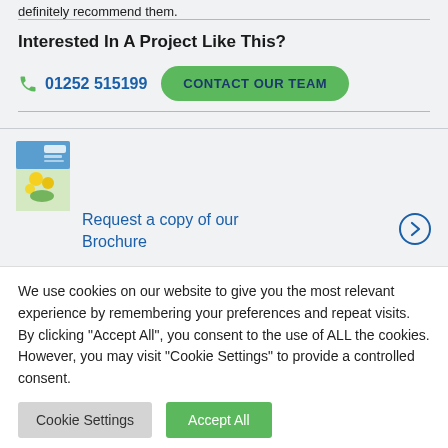definitely recommend them.
Interested In A Project Like This?
01252 515199   CONTACT OUR TEAM
[Figure (illustration): Small brochure cover thumbnail with yellow flowers and green/blue design]
Request a copy of our Brochure
We use cookies on our website to give you the most relevant experience by remembering your preferences and repeat visits. By clicking "Accept All", you consent to the use of ALL the cookies. However, you may visit "Cookie Settings" to provide a controlled consent.
Cookie Settings   Accept All